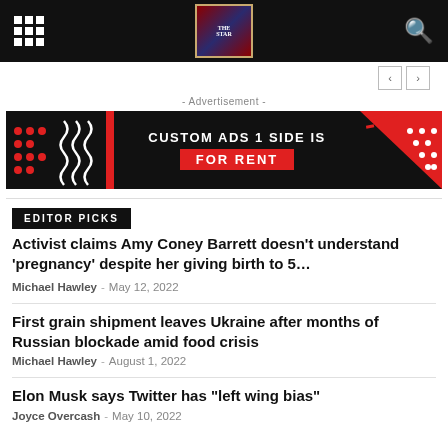Navigation header with grid icon, logo, and search icon
[Figure (screenshot): Navigation arrows (back/forward buttons)]
- Advertisement -
[Figure (infographic): Advertisement banner: CUSTOM ADS 1 SIDE IS FOR RENT]
EDITOR PICKS
Activist claims Amy Coney Barrett doesn’t understand ‘pregnancy’ despite her giving birth to 5…
Michael Hawley - May 12, 2022
First grain shipment leaves Ukraine after months of Russian blockade amid food crisis
Michael Hawley - August 1, 2022
Elon Musk says Twitter has “left wing bias”
Joyce Overcash - May 10, 2022